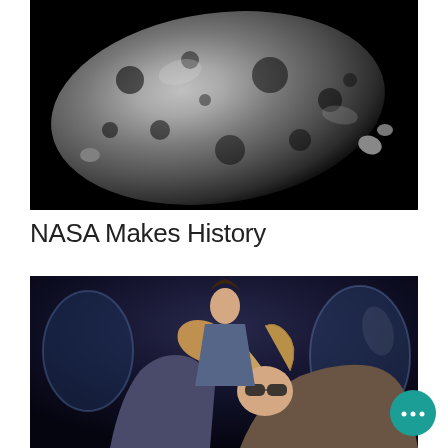[Figure (photo): Black and white photograph of asteroid Bennu against a black background, showing a rocky, irregular-shaped body with cratered surface and boulders]
NASA Makes History
[Figure (photo): Interior of a spacecraft cabin showing passengers experiencing weightlessness, with a woman in sunglasses in the foreground with her hair floating, and others floating in the background]